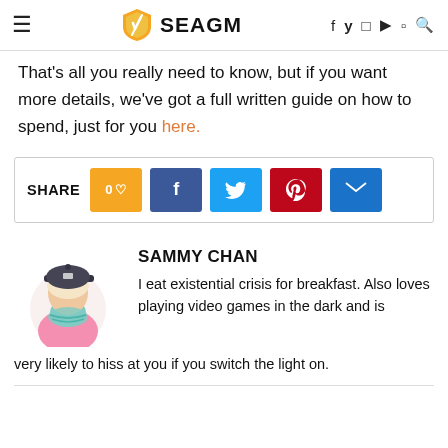SEAGM
That's all you really need to know, but if you want more details, we've got a full written guide on how to spend, just for you here.
SHARE 0 [heart] [facebook] [twitter] [pinterest] [email]
[Figure (illustration): Anime-style avatar of Sammy Chan – girl wearing a cap, viewed from behind]
SAMMY CHAN
I eat existential crisis for breakfast. Also loves playing video games in the dark and is very likely to hiss at you if you switch the light on.